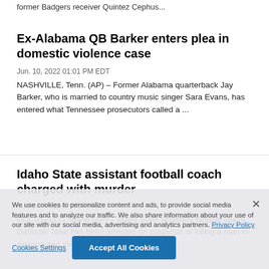former Badgers receiver Quintez Cephus...
Ex-Alabama QB Barker enters plea in domestic violence case
Jun. 10, 2022 01:01 PM EDT
NASHVILLE, Tenn. (AP) – Former Alabama quarterback Jay Barker, who is married to country music singer Sara Evans, has entered what Tennessee prosecutors called a ...
Idaho State assistant football coach charged with murder
Jun. 02, 2022 07:33 PM EDT
POCATELLO, Idaho (AP) – Idaho State assistant football coach DaVonte' Neal has been arrested on suspicion of killing a man in Arizona and the school intends to...
We use cookies to personalize content and ads, to provide social media features and to analyze our traffic. We also share information about your use of our site with our social media, advertising and analytics partners. Privacy Policy
Cookies Settings    Accept All Cookies